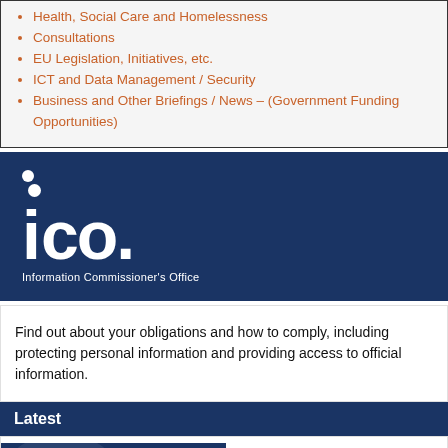Health, Social Care and Homelessness
Consultations
EU Legislation, Initiatives, etc.
ICT and Data Management / Security
Business and Other Briefings / News – (Government Funding Opportunities)
[Figure (logo): ICO - Information Commissioner's Office logo, white text on dark navy blue background]
Find out about your obligations and how to comply, including protecting personal information and providing access to official information.
Latest
[Figure (screenshot): A dark navy blue image with the word 'Statement' in white bold text, with circular watermark shapes in the background]